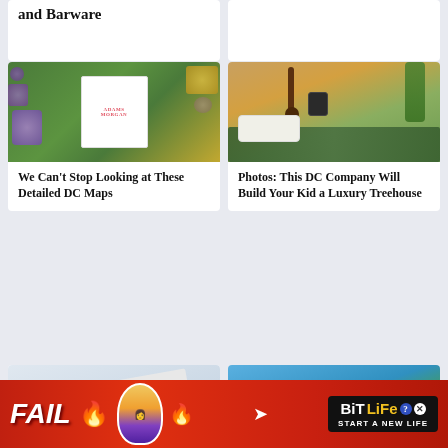and Barware
[Figure (photo): Top right partial card - white/empty area]
[Figure (photo): Collage of DC Adams Morgan neighborhood map with crystals and stones on green grass background]
We Can't Stop Looking at These Detailed DC Maps
[Figure (photo): Indoor photo of camping gear, guitar, green sleeping bag and plant - luxury treehouse items]
Photos: This DC Company Will Build Your Kid a Luxury Treehouse
[Figure (photo): Bottom left partial card showing white tent or fabric]
[Figure (photo): Bottom right partial card showing blue sky and green topiary or hedge]
[Figure (infographic): BitLife advertisement banner - FAIL text with fire and woman cartoon, BitLife logo, START A NEW LIFE tagline]